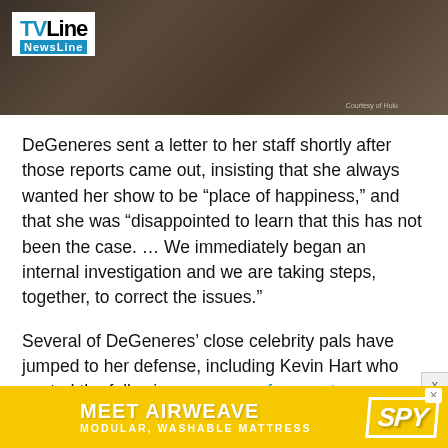[Figure (photo): TVLine NewsLine header image with dark brown background showing people in suits, with TVLine logo in top left and 'Courtesy of Hulu' caption]
DeGeneres sent a letter to her staff shortly after those reports came out, insisting that she always wanted her show to be “place of happiness,” and that she was “disappointed to learn that this has not been the case. … We immediately began an internal investigation and we are taking steps, together, to correct the issues.”
Several of DeGeneres’ close celebrity pals have jumped to her defense, including Kevin Hart who posted the following message of support on Instagram: “It’s crazy to see my friend go thru what she’s going thru publicly. I have known Ellen for years and I can honestly say that she’s one of the dopest people on the f–king planet. Sh
[Figure (other): Advertisement banner: MEET AIRWEAVE - MODULAR, WASHABLE MATTRESS with SPY logo on yellow background]